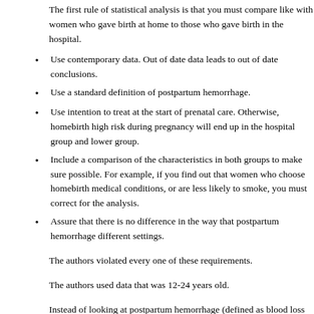The first rule of statistical analysis is that you must compare like with women who gave birth at home to those who gave birth in the hospital.
Use contemporary data. Out of date data leads to out of date conclusions.
Use a standard definition of postpartum hemorrhage.
Use intention to treat at the start of prenatal care. Otherwise, homebirth high risk during pregnancy will end up in the hospital group and lower group.
Include a comparison of the characteristics in both groups to make sure possible. For example, if you find out that women who choose homebirth medical conditions, or are less likely to smoke, you must correct for the analysis.
Assure that there is no difference in the way that postpartum hemorrhage different settings.
The authors violated every one of these requirements.
The authors used data that was 12-24 years old.
Instead of looking at postpartum hemorrhage (defined as blood loss greater authors chose to look at severe postpartum hemorrhage (blood loss gre